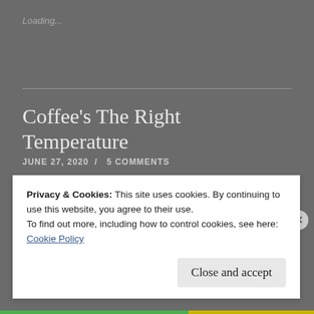Loading...
Coffee’s The Right Temperature
JUNE 27, 2020  /  5 COMMENTS
[Figure (photo): Close-up photo of a coffee machine portafilter or nozzle against a blurred beige/cream background]
Privacy & Cookies: This site uses cookies. By continuing to use this website, you agree to their use.
To find out more, including how to control cookies, see here:
Cookie Policy
Close and accept